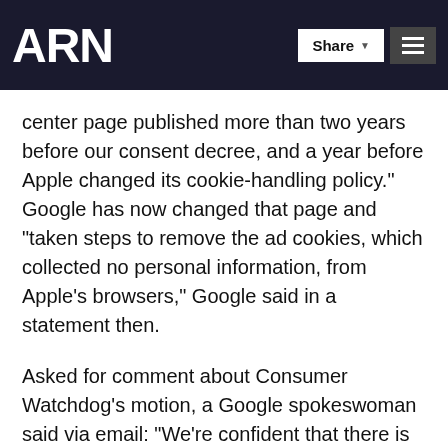ARN
When the p...ement was announced, Google said that the FTC allegations were based "on a 2009 help center page published more than two years before our consent decree, and a year before Apple changed its cookie-handling policy." Google has now changed that page and "taken steps to remove the ad cookies, which collected no personal information, from Apple's browsers," Google said in a statement then.
Asked for comment about Consumer Watchdog's motion, a Google spokeswoman said via email: "We're confident that there is no basis for this challenge." An FTC spokeswoman said the agency is reviewing the motion.
John Simpson, director of the privacy project at Consumer Watchdog, said the proposed settlement lets Google "buy its way out of trouble" and get away with making no admission